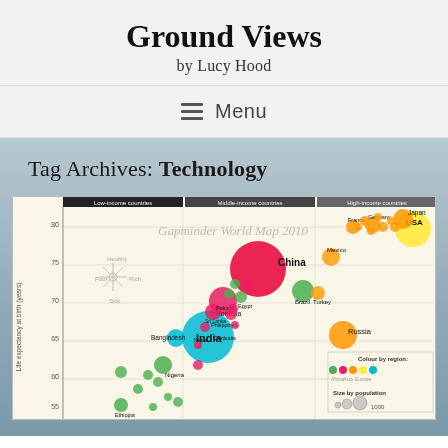Ground Views by Lucy Hood
Menu
Tag Archives: Technology
[Figure (bubble-chart): Gapminder World Map 2010 bubble chart showing life expectancy at birth (years) vs income, with bubbles sized by population and colored by world region. Countries labeled include China, India, Indonesia, Bangladesh, USA, Japan, Russia, and many others. X-axis shows income categories: Low-income countries, Middle-income countries, High-income countries. Y-axis shows life expectancy from ~55 to 80 years. Legend shows color by region and size by population.]